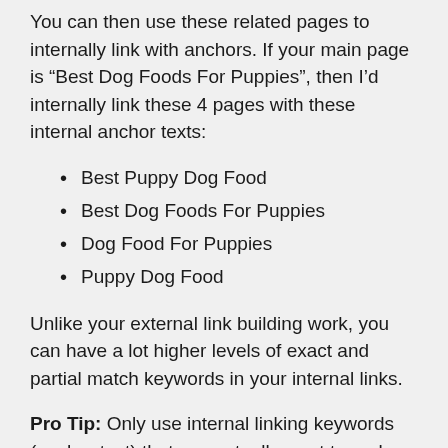You can then use these related pages to internally link with anchors. If your main page is “Best Dog Foods For Puppies”, then I’d internally link these 4 pages with these internal anchor texts:
Best Puppy Dog Food
Best Dog Foods For Puppies
Dog Food For Puppies
Puppy Dog Food
Unlike your external link building work, you can have a lot higher levels of exact and partial match keywords in your internal links.
Pro Tip: Only use internal linking keywords (anchor text) that you actually want to rank for,